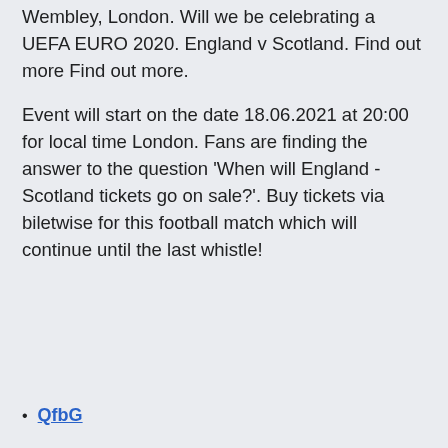Wembley, London. Will we be celebrating a UEFA EURO 2020. England v Scotland. Find out more Find out more.
Event will start on the date 18.06.2021 at 20:00 for local time London. Fans are finding the answer to the question 'When will England - Scotland tickets go on sale?'. Buy tickets via biletwise for this football match which will continue until the last whistle!
QfbG